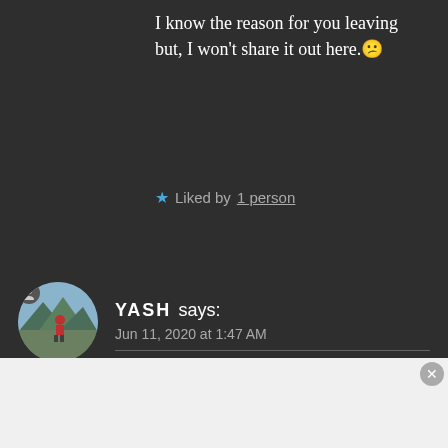I know the reason for you leaving but, I won't share it out here.😕
★ Liked by 1 person
YASH says:
Jun 11, 2020 at 1:47 AM
You know the reason? 😄 Naaah! You have no idea😅. Trust me. Anyway, till then you keep posting and I will read all
Advertisements
[Figure (screenshot): WordPress.com advertisement banner with Start Today button]